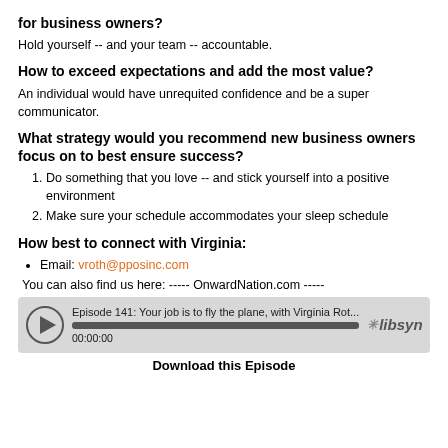for business owners?
Hold yourself -- and your team -- accountable.
How to exceed expectations and add the most value?
An individual would have unrequited confidence and be a super communicator.
What strategy would you recommend new business owners focus on to best ensure success?
Do something that you love -- and stick yourself into a positive environment
Make sure your schedule accommodates your sleep schedule
How best to connect with Virginia:
Email: vroth@pposinc.com
You can also find us here: ----- OnwardNation.com -----
[Figure (other): Audio player widget showing Episode 141: Your job is to fly the plane, with Virginia Rot... with play button, progress bar, timestamp 00:00:00, and libsyn logo]
Download this Episode